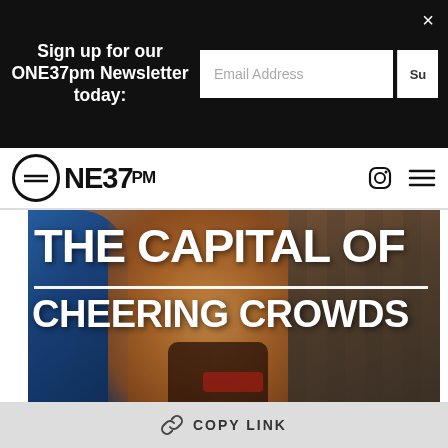Sign up for our ONE37pm Newsletter today:
[Figure (logo): ONE37pm logo with circular icon and navigation icons]
[Figure (photo): Hero image with text overlay reading 'THE CAPITAL OF CHEERING CROWDS' over a photo of a smiling child with a blue balloon and city building background]
COPY LINK